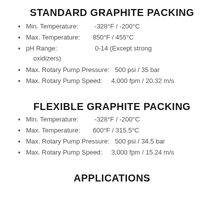STANDARD GRAPHITE PACKING
Min. Temperature: -328°F / -200°C
Max. Temperature: 850°F / 455°C
pH Range: 0-14 (Except strong oxidizers)
Max. Rotary Pump Pressure: 500 psi / 35 bar
Max. Rotary Pump Speed: 4,000 fpm / 20.32 m/s
FLEXIBLE GRAPHITE PACKING
Min. Temperature: -328°F / -200°C
Max. Temperature: 600°F / 315.5°C
Max. Rotary Pump Pressure: 500 psi / 34.5 bar
Max. Rotary Pump Speed: 3,000 fpm / 15.24 m/s
APPLICATIONS